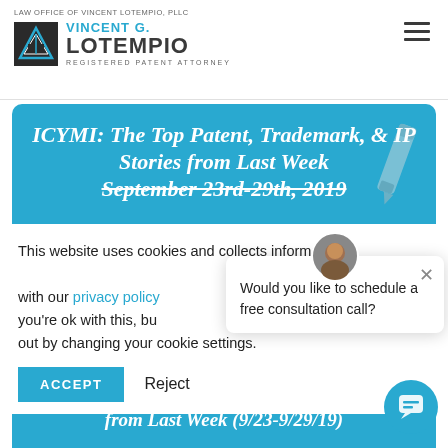LAW OFFICE OF VINCENT LOTEMPIO, PLLC — VINCENT G. LOTEMPIO — REGISTERED PATENT ATTORNEY
ICYMI: The Top Patent, Trademark, & IP Stories from Last Week September 23rd-29th, 2019
This website uses cookies and collects information in accordance with our privacy policy. We assume you're ok with this, but you can opt out by changing your cookie settings.
Would you like to schedule a free consultation call?
d IP St…from Last Week (9/23-9/29/19)